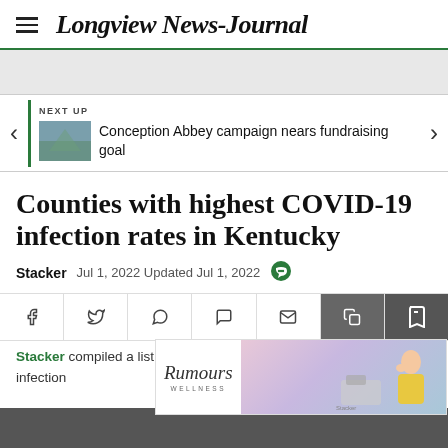Longview News-Journal
[Figure (screenshot): Navigation bar with NEXT UP label showing thumbnail and link to 'Conception Abbey campaign nears fundraising goal']
Counties with highest COVID-19 infection rates in Kentucky
Stacker   Jul 1, 2022 Updated Jul 1, 2022
[Figure (infographic): Social sharing buttons row: Facebook, Twitter, WhatsApp, SMS, Email, Copy, Bookmark]
[Figure (photo): Rumours Wellness advertisement banner with woman and sewing machine]
Stacker compiled a list of counties with the highest COVID-19 infection